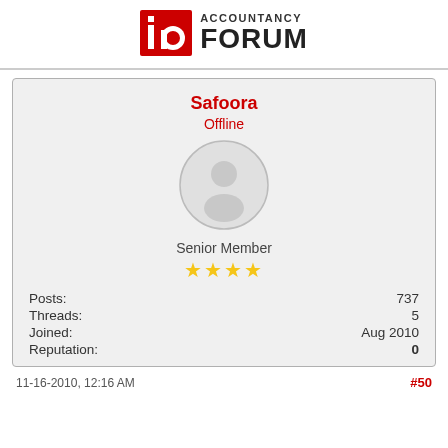ACCOUNTANCY FORUM
Safoora
Offline
[Figure (illustration): Default user avatar: silhouette of a person inside a light grey circle]
Senior Member
★★★★
| Field | Value |
| --- | --- |
| Posts: | 737 |
| Threads: | 5 |
| Joined: | Aug 2010 |
| Reputation: | 0 |
11-16-2010, 12:16 AM   #50